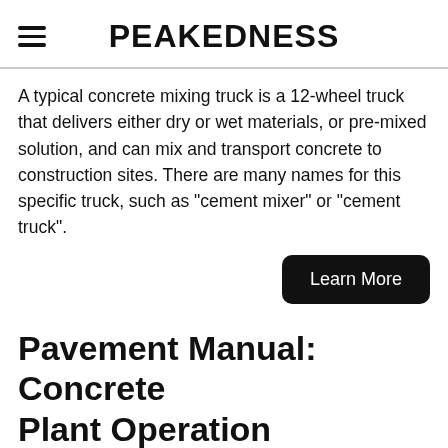PEAKEDNESS
A typical concrete mixing truck is a 12-wheel truck that delivers either dry or wet materials, or pre-mixed solution, and can mix and transport concrete to construction sites. There are many names for this specific truck, such as "cement mixer" or "cement truck".
Learn More
Pavement Manual: Concrete Plant Operation
[Figure (photo): Outdoor photo of a concrete plant or cement mixer truck facility under a blue sky, with a chat widget overlay showing 'Hey, we are live 24/7. How may I help you?' and a circular chat button with three dots.]